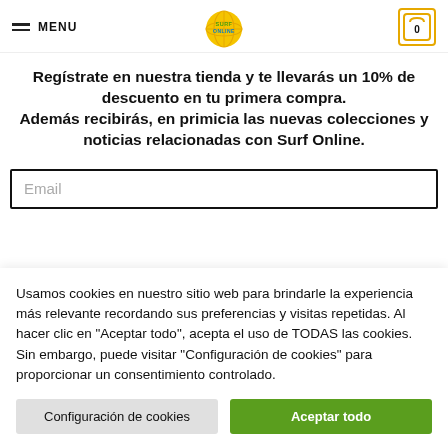MENU | SURF ONLINE | 0
Regístrate en nuestra tienda y te llevarás un 10% de descuento en tu primera compra. Además recibirás, en primicia las nuevas colecciones y noticias relacionadas con Surf Online.
Email
Usamos cookies en nuestro sitio web para brindarle la experiencia más relevante recordando sus preferencias y visitas repetidas. Al hacer clic en "Aceptar todo", acepta el uso de TODAS las cookies. Sin embargo, puede visitar "Configuración de cookies" para proporcionar un consentimiento controlado.
Configuración de cookies | Aceptar todo